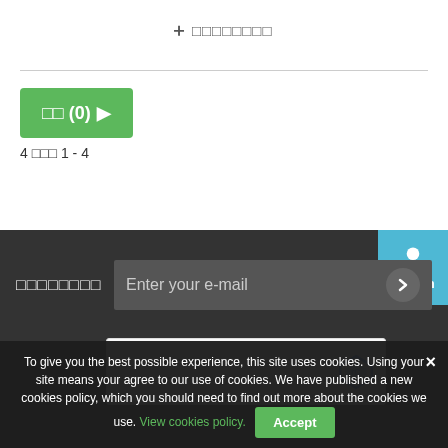+ ＋ □□□□□□□□
[Figure (screenshot): Green button with Japanese text and arrow: □□ (0) ▶]
4 □□□ 1 - 4
[Figure (screenshot): Sign In button with user icon]
□□□□□□□□
Enter your e-mail
[Figure (screenshot): reCAPTCHA widget]
To give you the best possible experience, this site uses cookies. Using your site means your agree to our use of cookies. We have published a new cookies policy, which you should need to find out more about the cookies we use. View cookies policy. Accept